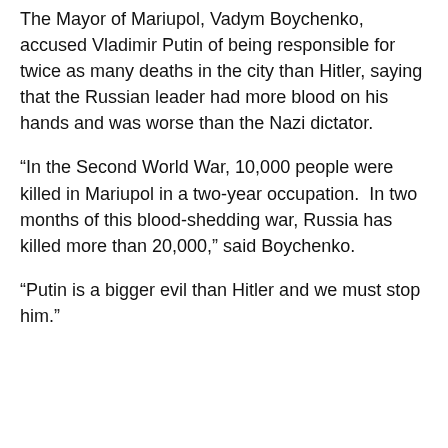The Mayor of Mariupol, Vadym Boychenko, accused Vladimir Putin of being responsible for twice as many deaths in the city than Hitler, saying that the Russian leader had more blood on his hands and was worse than the Nazi dictator.
“In the Second World War, 10,000 people were killed in Mariupol in a two-year occupation.  In two months of this blood-shedding war, Russia has killed more than 20,000,” said Boychenko.
“Putin is a bigger evil than Hitler and we must stop him.”